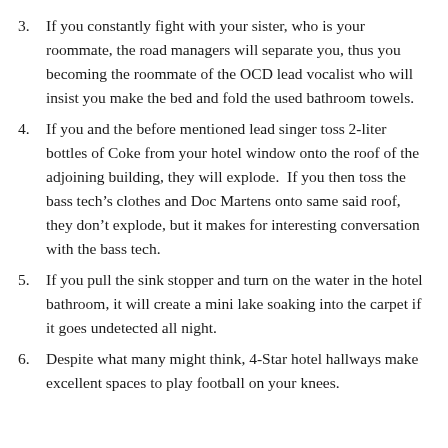3. If you constantly fight with your sister, who is your roommate, the road managers will separate you, thus you becoming the roommate of the OCD lead vocalist who will insist you make the bed and fold the used bathroom towels.
4. If you and the before mentioned lead singer toss 2-liter bottles of Coke from your hotel window onto the roof of the adjoining building, they will explode.  If you then toss the bass tech’s clothes and Doc Martens onto same said roof, they don’t explode, but it makes for interesting conversation with the bass tech.
5. If you pull the sink stopper and turn on the water in the hotel bathroom, it will create a mini lake soaking into the carpet if it goes undetected all night.
6. Despite what many might think, 4-Star hotel hallways make excellent spaces to play football on your knees.